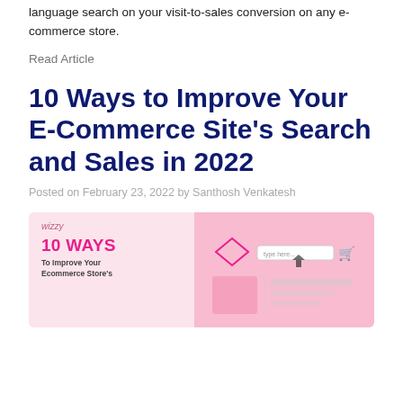language search on your visit-to-sales conversion on any e-commerce store.
Read Article
10 Ways to Improve Your E-Commerce Site’s Search and Sales in 2022
Posted on February 23, 2022 by Santhosh Venkatesh
[Figure (illustration): Pink promotional banner for Wizzy with text '10 WAYS To Improve Your Ecommerce Store's Search' on the left and UI mockup elements on the right]